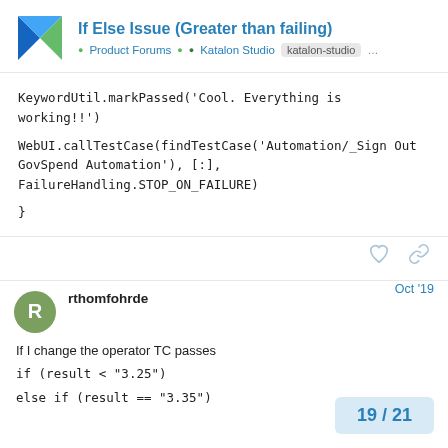If Else Issue (Greater than failing) — Product Forums • Katalon Studio — katalon-studio ...
KeywordUtil.markPassed('Cool. Everything is working!!')
WebUI.callTestCase(findTestCase('Automation/_Sign Out GovSpend Automation'), [:], FailureHandling.STOP_ON_FAILURE)
}
rthomfohrde  Oct '19
If I change the operator TC passes
if (result < "3.25")
else if (result == "3.35")
19 / 21